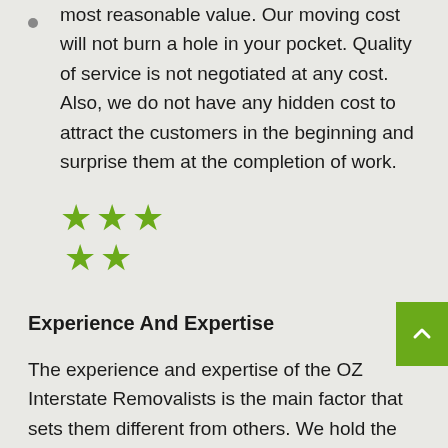most reasonable value. Our moving cost will not burn a hole in your pocket. Quality of service is not negotiated at any cost. Also, we do not have any hidden cost to attract the customers in the beginning and surprise them at the completion of work.
[Figure (illustration): Five green stars arranged in two rows (3 on top, 2 on bottom) forming a rating/review symbol]
Experience And Expertise
The experience and expertise of the OZ Interstate Removalists is the main factor that sets them different from others. We hold the right expertise to move you easily from Port Augusta to Byron Bay. You can easily count on our team for the hassle-free